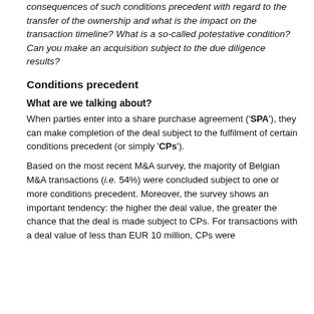consequences of such conditions precedent with regard to the transfer of the ownership and what is the impact on the transaction timeline? What is a so-called potestative condition? Can you make an acquisition subject to the due diligence results?
Conditions precedent
What are we talking about?
When parties enter into a share purchase agreement ('SPA'), they can make completion of the deal subject to the fulfilment of certain conditions precedent (or simply 'CPs').
Based on the most recent M&A survey, the majority of Belgian M&A transactions (i.e. 54%) were concluded subject to one or more conditions precedent. Moreover, the survey shows an important tendency: the higher the deal value, the greater the chance that the deal is made subject to CPs. For transactions with a deal value of less than EUR 10 million, CPs were